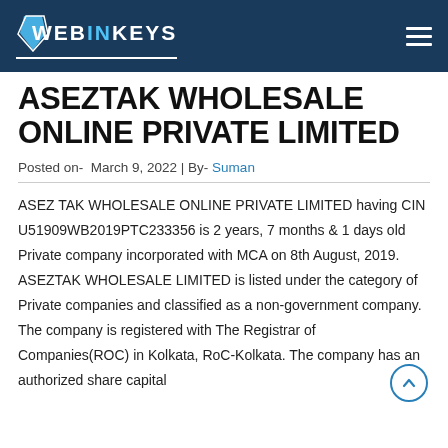WEBINKEYS
ASEZTAK WHOLESALE ONLINE PRIVATE LIMITED
Posted on- March 9, 2022 | By- Suman
ASEZ TAK WHOLESALE ONLINE PRIVATE LIMITED having CIN U51909WB2019PTC233356 is 2 years, 7 months & 1 days old Private company incorporated with MCA on 8th August, 2019. ASEZTAK WHOLESALE LIMITED is listed under the category of Private companies and classified as a non-government company. The company is registered with The Registrar of Companies(ROC) in Kolkata, RoC-Kolkata. The company has an authorized share capital